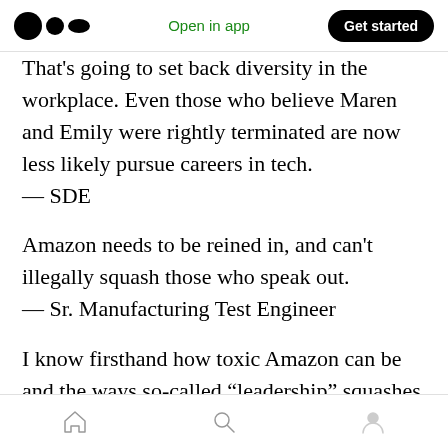Open in app | Get started
That's going to set back diversity in the workplace. Even those who believe Maren and Emily were rightly terminated are now less likely pursue careers in tech.
— SDE
Amazon needs to be reined in, and can't illegally squash those who speak out.
— Sr. Manufacturing Test Engineer
I know firsthand how toxic Amazon can be and the ways so-called “leadership” squashes dissent at all levels. Maren and Emily are the real leaders
Home | Search | Profile